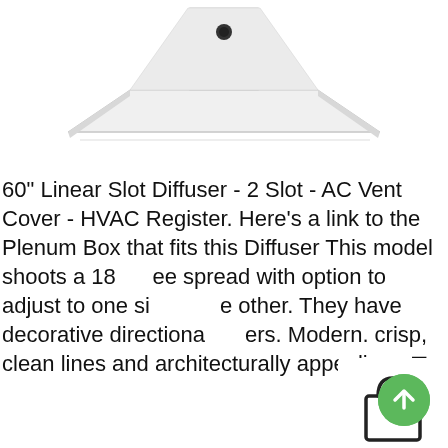[Figure (photo): Bottom view of a white 60-inch linear slot diffuser / AC vent cover showing a flat rectangular grille with a central mounting point, photographed against a white background]
60" Linear Slot Diffuser - 2 Slot - AC Vent Cover - HVAC Register. Here's a link to the Plenum Box that fits this Diffuser This model shoots a 18 degree spread with option to adjust to one side or the other. They have decorative directional dampers. Modern. crisp, clean lines and architecturally appealing.. ⊞.
[Figure (illustration): Shopping bag icon overlay in white box]
[Figure (illustration): Green circular floating action button with upward arrow]